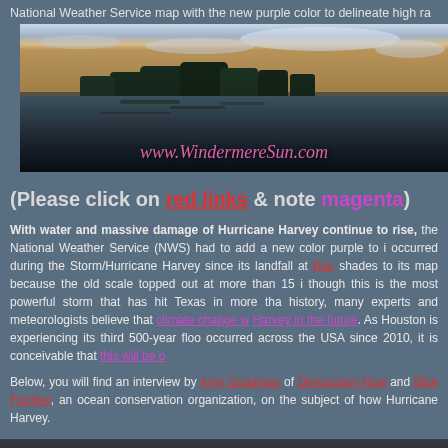National Weather Service map with the new purple color to delineate high ra
[Figure (photo): Panoramic lake/waterway photo at dusk with tree silhouettes reflected in calm water, overlaid with www.WindermereSun.com URL text in pink/magenta italic font]
(Please click on red links & note magenta)
With water and massive damage of Hurricane Harvey continue to rise, National Weather Service (NWS) had to add a new color purple to its occurred during the Storm/Hurricane Harvey since its landfall at Roc shades to its map because the old scale topped out at more than 15 i though this is the most powerful storm that has hit Texas in more tha history, many experts and meteorologists believe that climate change w Harvey in the future. As Houston is experiencing its third 500-year floo occurred across the USA since 2010, it is conceivable that this will be o
Below, you will find an interview by Amy Goodman of Democracy Now and Blue Frontier, an ocean conservation organization, on the subject of how Hurricane Harvey.
[Figure (photo): Bottom partial photo visible at bottom of page]